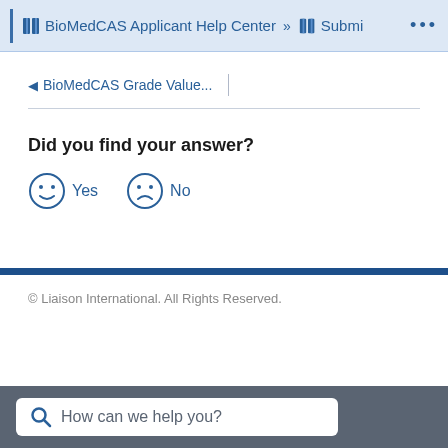BioMedCAS Applicant Help Center » Submi ...
◄ BioMedCAS Grade Value...
Did you find your answer?
😊 Yes   ☹ No
© Liaison International. All Rights Reserved.
How can we help you?